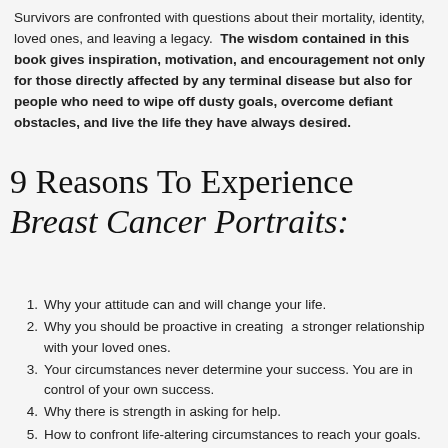Survivors are confronted with questions about their mortality, identity, loved ones, and leaving a legacy. The wisdom contained in this book gives inspiration, motivation, and encouragement not only for those directly affected by any terminal disease but also for people who need to wipe off dusty goals, overcome defiant obstacles, and live the life they have always desired.
9 Reasons To Experience Breast Cancer Portraits:
Why your attitude can and will change your life.
Why you should be proactive in creating a stronger relationship with your loved ones.
Your circumstances never determine your success. You are in control of your own success.
Why there is strength in asking for help.
How to confront life-altering circumstances to reach your goals.
The secret to happiness in the middle of a storm.